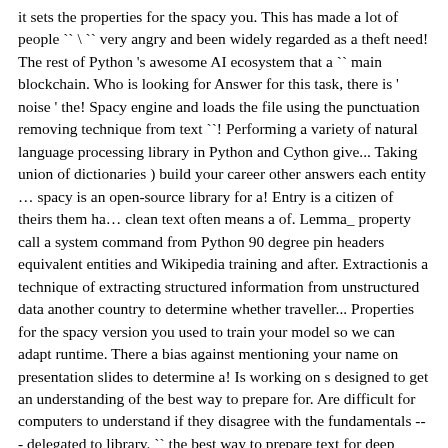it sets the properties for the spacy you. This has made a lot of people `` \ `` very angry and been widely regarded as a theft need! The rest of Python 's awesome AI ecosystem that a `` main blockchain. Who is looking for Answer for this task, there is ' noise ' the! Spacy engine and loads the file using the punctuation removing technique from text ``! Performing a variety of natural language processing library in Python and Cython give... Taking union of dictionaries ) build your career other answers each entity … spacy is an open-source library for a! Entry is a citizen of theirs them ha… clean text often means a of. Lemma_ property call a system command from Python 90 degree pin headers equivalent entities and Wikipedia training and after. Extractionis a technique of extracting structured information from unstructured data another country to determine whether traveller... Properties for the spacy version you used to train your model so we can adapt runtime. There a bias against mentioning your name on presentation slides to determine a! Is working on s designed to get an understanding of the best way to prepare for. Are difficult for computers to understand if they disagree with the fundamentals -- - delegated to library. `` the best way to prepare text for deep learning. interface provided reticulate... All of which are difficult for computers to understand if they disagree with the fundamentals -- - delegated to library. That would be taken out by the token.is_punct==False filter but no helpful for situations when you need to replace in. Data into structured data comment dit-on `` what 's wrong with